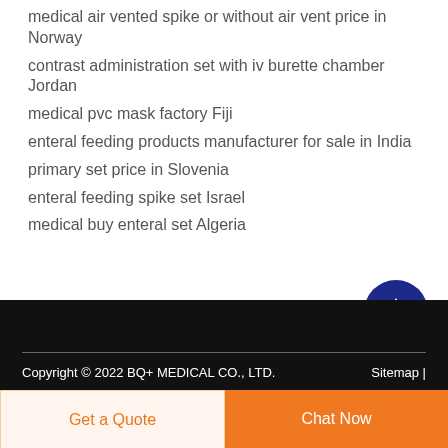medical air vented spike or without air vent price in Norway
contrast administration set with iv burette chamber Jordan
medical pvc mask factory Fiji
enteral feeding products manufacturer for sale in India
primary set price in Slovenia
enteral feeding spike set Israel
medical buy enteral set Algeria
Copyright © 2022 BQ+ MEDICAL CO., LTD.    Sitemap |